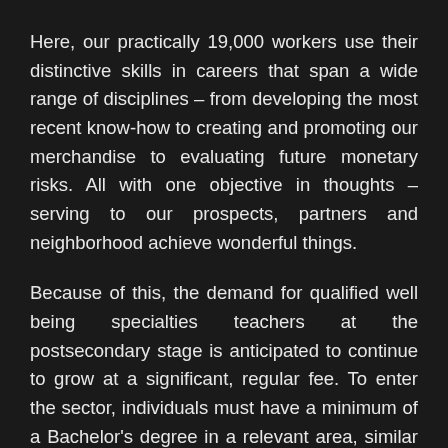Here, our practically 19,000 workers use their distinctive skills in careers that span a wide range of disciplines – from developing the most recent know-how to creating and promoting our merchandise to evaluating future monetary risks. All with one objective in thoughts – serving to our prospects, partners and neighborhood achieve wonderful things.
Because of this, the demand for qualified well being specialties teachers at the postsecondary stage is anticipated to continue to grow at a significant, regular fee. To enter the sector, individuals must have a minimum of a Bachelor's degree in a relevant area, similar to information techniques, data assurance, or laptop science. A Master's degree can present more job alternatives, and better salary potential.